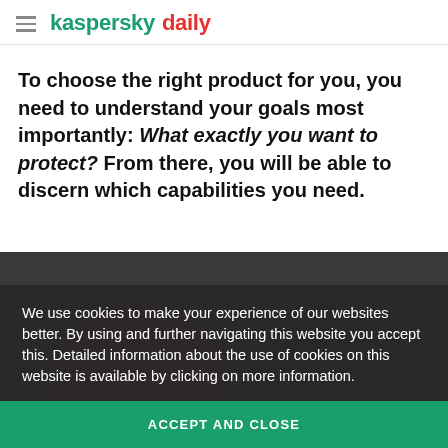kaspersky daily
To choose the right product for you, you need to understand your goals most importantly: What exactly you want to protect? From there, you will be able to discern which capabilities you need.
[Figure (photo): Partially visible image of people or characters underneath a dark cookie consent overlay]
We use cookies to make your experience of our websites better. By using and further navigating this website you accept this. Detailed information about the use of cookies on this website is available by clicking on more information.
ACCEPT AND CLOSE